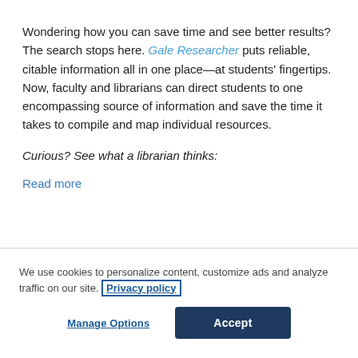Wondering how you can save time and see better results? The search stops here. Gale Researcher puts reliable, citable information all in one place—at students' fingertips. Now, faculty and librarians can direct students to one encompassing source of information and save the time it takes to compile and map individual resources.
Curious? See what a librarian thinks:
Read more
We use cookies to personalize content, customize ads and analyze traffic on our site. Privacy policy
Manage Options
Accept